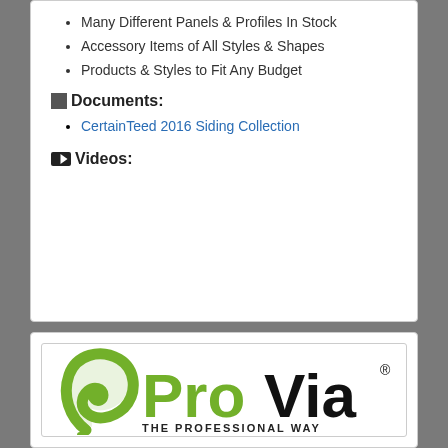Many Different Panels & Profiles In Stock
Accessory Items of All Styles & Shapes
Products & Styles to Fit Any Budget
Documents:
CertainTeed 2016 Siding Collection
Videos:
[Figure (logo): ProVia - The Professional Way logo in green and black]